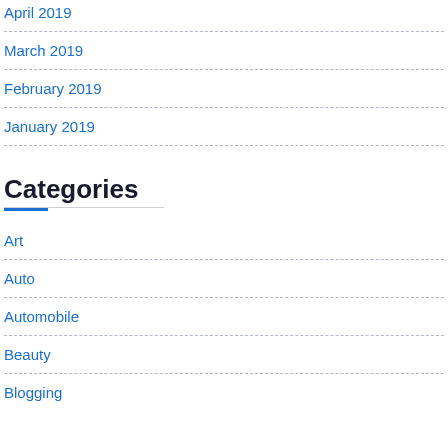April 2019
March 2019
February 2019
January 2019
Categories
Art
Auto
Automobile
Beauty
Blogging